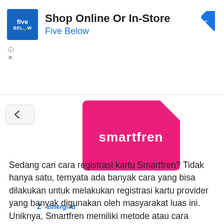[Figure (screenshot): Advertisement banner for Five Below: 'Shop Online Or In-Store - Five Below' with blue square logo and navigation arrow icon]
[Figure (logo): Smartfren SIM card logo on pink/magenta rounded shape with white 'smartfren' text, partially cropped at top]
[Figure (logo): Zinergi.id logo with blue Z icon and blue text]
Sedang cari cara registrasi kartu Smartfren? Tidak hanya satu, ternyata ada banyak cara yang bisa dilakukan untuk melakukan registrasi kartu provider yang banyak digunakan oleh masyarakat luas ini. Uniknya, Smartfren memiliki metode atau cara registrasi yang berbeda dengan jenis provider lainnya. Smartfren menyediakan